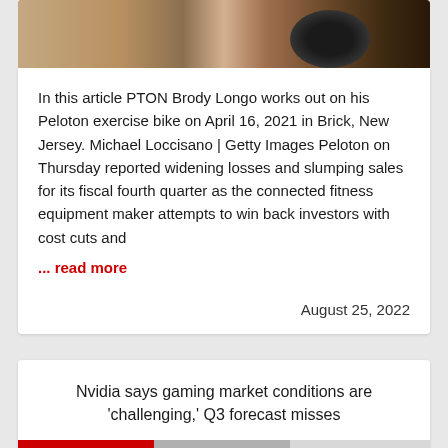[Figure (photo): Partial view of a Peloton exercise bike in a home setting, showing handlebars and wheel]
In this article PTON Brody Longo works out on his Peloton exercise bike on April 16, 2021 in Brick, New Jersey. Michael Loccisano | Getty Images Peloton on Thursday reported widening losses and slumping sales for its fiscal fourth quarter as the connected fitness equipment maker attempts to win back investors with cost cuts and
... read more
August 25, 2022
Nvidia says gaming market conditions are 'challenging,' Q3 forecast misses
[Figure (photo): Partial bottom strip of an image related to Nvidia article]